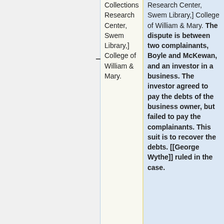Collections Research Center, Swem Library,] College of William & Mary.
Research Center, Swem Library,] College of William & Mary. The dispute is between two complainants, Boyle and McKewan, and an investor in a business. The investor agreed to pay the debts of the business owner, but failed to pay the complainants. This suit is to recover the debts. [[George Wythe]] ruled in the case.